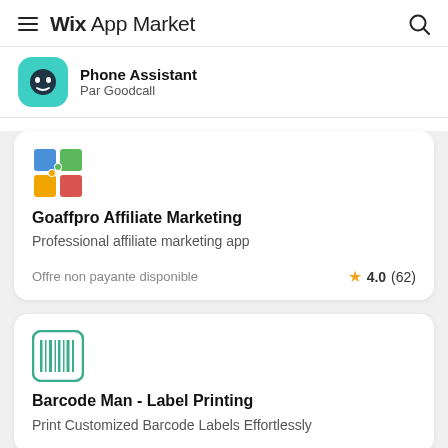Wix App Market
Phone Assistant
Par Goodcall
Goaffpro Affiliate Marketing
Professional affiliate marketing app
Offre non payante disponible   ★ 4.0 (62)
Barcode Man - Label Printing
Print Customized Barcode Labels Effortlessly